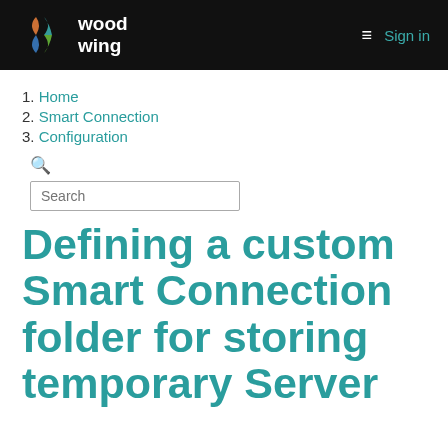WoodWing | Sign in
1. Home
2. Smart Connection
3. Configuration
Search
Defining a custom Smart Connection folder for storing temporary Server